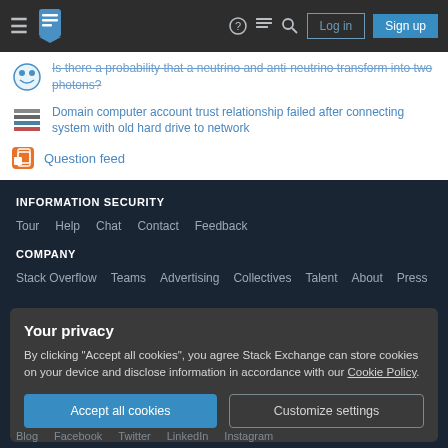Navigation bar with hamburger menu, Stack Exchange logo, help, chat, search icons, Log in and Sign up buttons
Is there a probability that a neutrino and anti-neutrino transform into two photons?
Domain computer account trust relationship failed after connecting system with old hard drive to network
Question feed
INFORMATION SECURITY
Tour   Help   Chat   Contact   Feedback
COMPANY
Stack Overflow   Teams   Advertising   Collectives   Talent   About   Press
Your privacy
By clicking "Accept all cookies", you agree Stack Exchange can store cookies on your device and disclose information in accordance with our Cookie Policy.
Accept all cookies   Customize settings
Blog   Facebook   Twitter   LinkedIn   Instagram